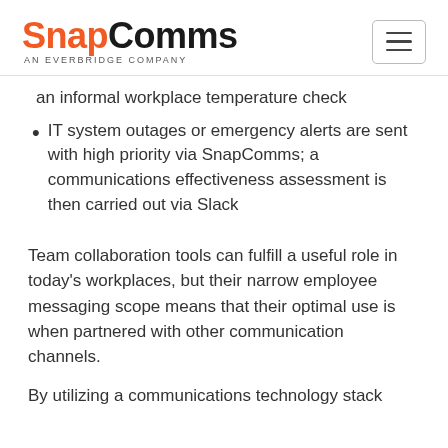SnapComms AN EVERBRIDGE COMPANY
an informal workplace temperature check
IT system outages or emergency alerts are sent with high priority via SnapComms; a communications effectiveness assessment is then carried out via Slack
Team collaboration tools can fulfill a useful role in today’s workplaces, but their narrow employee messaging scope means that their optimal use is when partnered with other communication channels.
By utilizing a communications technology stack